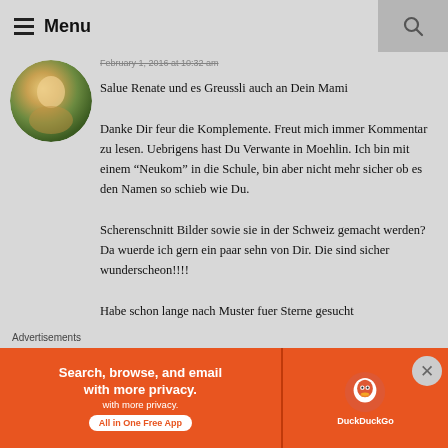Menu
February 1, 2016 at 10:32 am
Salue Renate und es Greussli auch an Dein Mami
Danke Dir feur die Komplemente. Freut mich immer Kommentar zu lesen. Uebrigens hast Du Verwante in Moehlin. Ich bin mit einem “Neukom” in die Schule, bin aber nicht mehr sicher ob es den Namen so schieb wie Du.
Scherenschnitt Bilder sowie sie in der Schweiz gemacht werden? Da wuerde ich gern ein paar sehn von Dir. Die sind sicher wunderscheon!!!!
Habe schon lange nach Muster fuer Sterne gesucht
Advertisements
[Figure (screenshot): DuckDuckGo advertisement banner: orange background with text 'Search, browse, and email with more privacy. All in One Free App' and DuckDuckGo logo on the right]